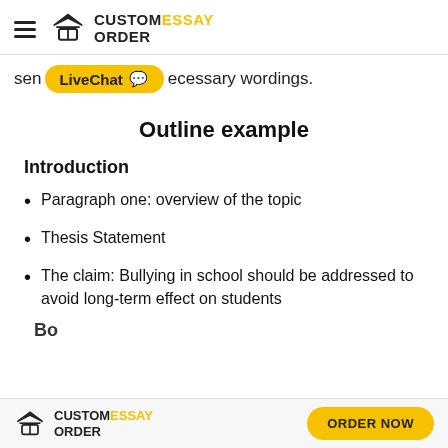CUSTOMESSAY ORDER
sen LiveChat ecessary wordings.
Outline example
Introduction
Paragraph one: overview of the topic
Thesis Statement
The claim: Bullying in school should be addressed to avoid long-term effect on students
CUSTOMESSAY ORDER  ORDER NOW